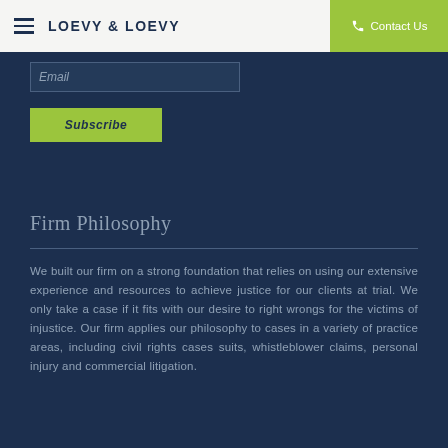LOEVY & LOEVY | Contact Us
Email
Subscribe
Firm Philosophy
We built our firm on a strong foundation that relies on using our extensive experience and resources to achieve justice for our clients at trial. We only take a case if it fits with our desire to right wrongs for the victims of injustice. Our firm applies our philosophy to cases in a variety of practice areas, including civil rights cases suits, whistleblower claims, personal injury and commercial litigation.